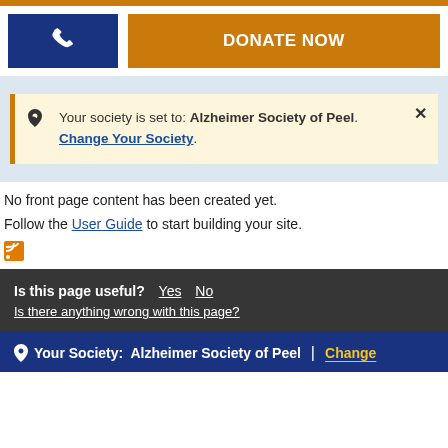[Figure (screenshot): Orange top bar accent strip]
[Figure (screenshot): Phone icon button (dark blue) and DONATE NOW button (orange)]
Your society is set to: Alzheimer Society of Peel. Change Your Society.
No front page content has been created yet.
Follow the User Guide to start building your site.
Is this page useful? Yes No
Is there anything wrong with this page?
Your Society: Alzheimer Society of Peel | Change